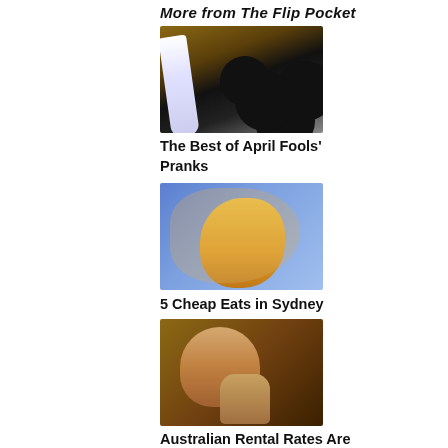More from The Flip Pocket
[Figure (photo): Oreo cookies opened with white filling replaced by toothpaste and white powder on a wooden table, with a Crest toothpaste tube]
The Best of April Fools' Pranks
[Figure (photo): Man squinting face while biting into a lemon, against a blue spotted background]
5 Cheap Eats in Sydney
[Figure (photo): Australian politician holding a tin-can telephone to his ear, looking serious]
Australian Rental Rates Are Falling Faster Than Our Faith in Politics